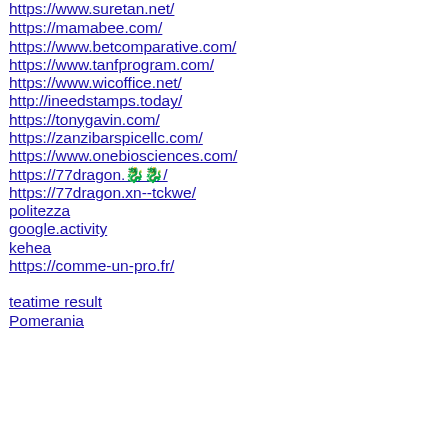https://www.suretan.net/
https://mamabee.com/
https://www.betcomparative.com/
https://www.tanfprogram.com/
https://www.wicoffice.net/
http://ineedstamps.today/
https://tonygavin.com/
https://zanzibarspicellc.com/
https://www.onebiosciences.com/
https://77dragon.🐉🐉/
https://77dragon.xn--tckwe/
politezza
google.activity
kehea
https://comme-un-pro.fr/
teatime result
Pomerania